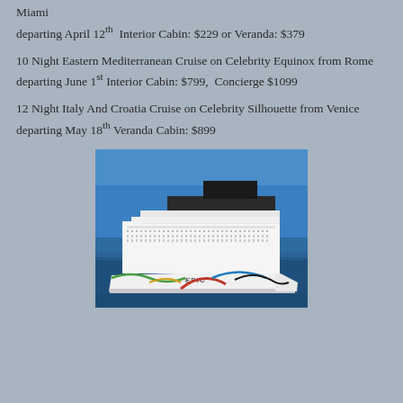Miami
departing April 12th  Interior Cabin: $229 or Veranda: $379
10 Night Eastern Mediterranean Cruise on Celebrity Equinox from Rome
departing June 1st Interior Cabin: $799,  Concierge $1099
12 Night Italy And Croatia Cruise on Celebrity Silhouette from Venice
departing May 18th Veranda Cabin: $899
[Figure (photo): Large cruise ship named 'EPIC' (Norwegian Epic) sailing on open blue water. The ship is white with colorful wave designs on the hull in red, blue, green, and black. The sky is bright blue. Photographed from an elevated angle showing the port side of the vessel.]